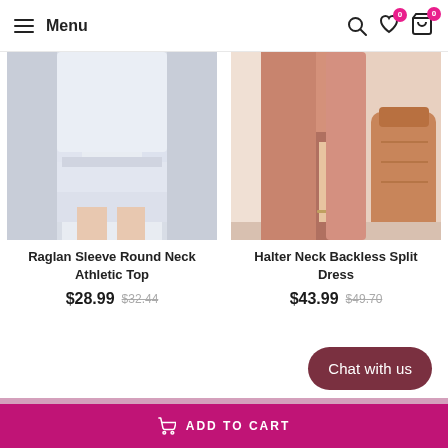Menu
[Figure (photo): White long-sleeve athletic top worn by a model, showing raglan sleeve and layered hem skirt detail]
Raglan Sleeve Round Neck Athletic Top
$28.99  $32.44
[Figure (photo): Model wearing a peach/salmon halter neck backless split maxi dress, standing near a terracotta pot]
Halter Neck Backless Split Dress
$43.99  $49.70
Chat with us
ADD TO CART